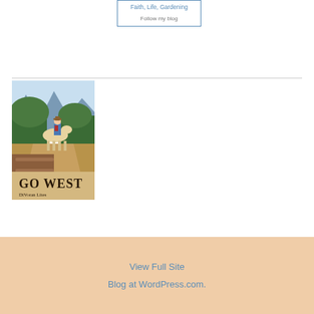Faith, Life, Gardening
Follow my blog
[Figure (illustration): Book cover for 'Go West' by DiVoran Lites showing a painted scene of a person on a white horse with green trees and mountains in the background, with the title and author name at the bottom]
View Full Site
Blog at WordPress.com.